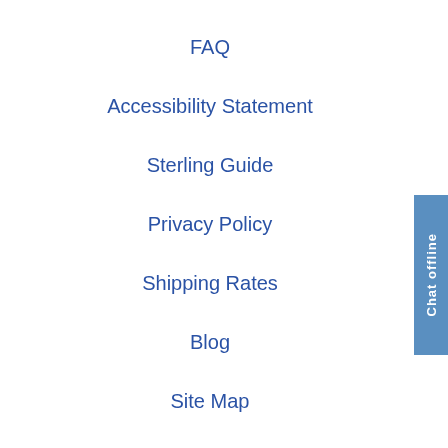FAQ
Accessibility Statement
Sterling Guide
Privacy Policy
Shipping Rates
Blog
Site Map
My Account
Login / Register